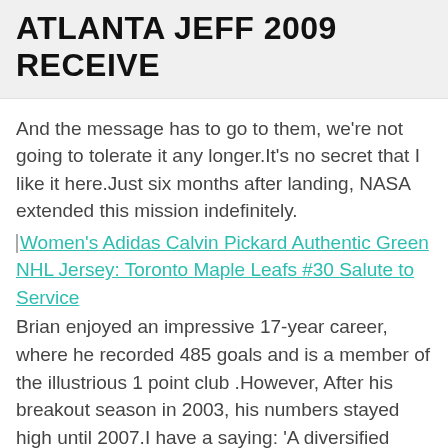ATLANTA JEFF 2009 RECEIVE
And the message has to go to them, we're not going to tolerate it any longer.It's no secret that I like it here.Just six months after landing, NASA extended this mission indefinitely.
[broken image] Women's Adidas Calvin Pickard Authentic Green NHL Jersey: Toronto Maple Leafs #30 Salute to Service
Brian enjoyed an impressive 17-year career, where he recorded 485 goals and is a member of the illustrious 1 point club .However, After his breakout season in 2003, his numbers stayed high until 2007.I have a saying: 'A diversified portfolio is incredibly boring, but I'd rather be bored than broke.'